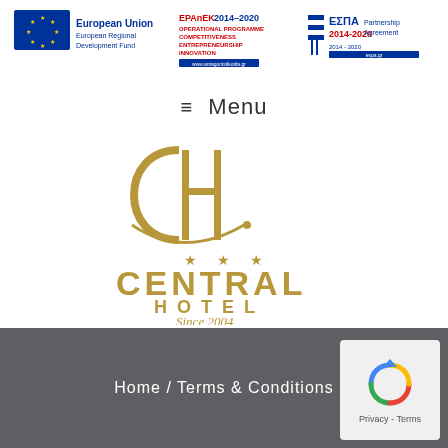[Figure (logo): EU funding logos: European Union European Regional Development Fund, EPAnEK 2014-2020 Operational Programme Competitiveness Entrepreneurship Innovation, ΕΣΠΑ 2014-2020 Partnership Agreement]
≡  Menu
[Figure (logo): Central Hotel logo with CH monogram, three stars, CENTRAL HOTEL text, Since 2004]
≡  Menu
Home / Terms & Conditions